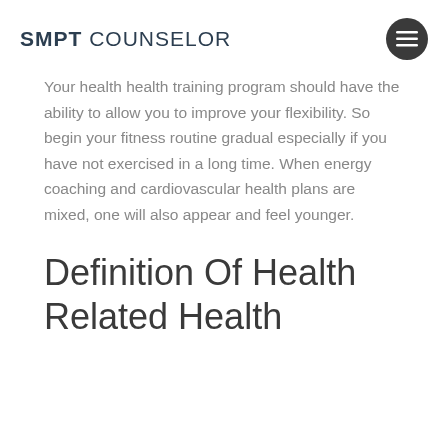SMPT COUNSELOR
Your health health training program should have the ability to allow you to improve your flexibility. So begin your fitness routine gradual especially if you have not exercised in a long time. When energy coaching and cardiovascular health plans are mixed, one will also appear and feel younger.
Definition Of Health Related Health